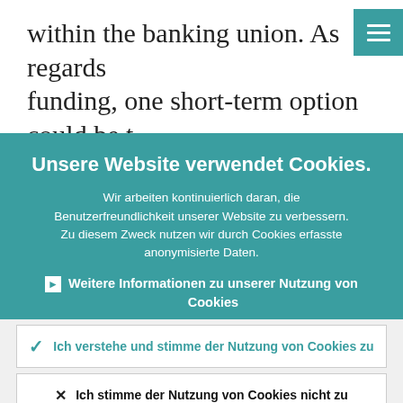within the banking union. As regards funding, one short-term option could be to grant the SRB powers to expand its use of
[Figure (other): Hamburger menu button icon with three horizontal white lines on teal background]
Unsere Website verwendet Cookies.
Wir arbeiten kontinuierlich daran, die Benutzerfreundlichkeit unserer Website zu verbessern. Zu diesem Zweck nutzen wir durch Cookies erfasste anonymisierte Daten.
Weitere Informationen zu unserer Nutzung von Cookies
Ich verstehe und stimme der Nutzung von Cookies zu
Ich stimme der Nutzung von Cookies nicht zu